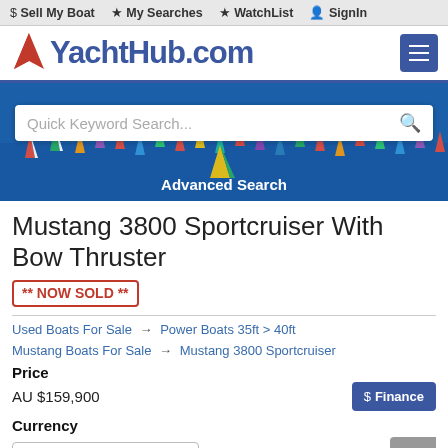$ Sell My Boat  ★ My Searches  ★ WatchList  👤 SignIn
[Figure (logo): YachtHub.com logo with red star icon and blue text, navigation menu button]
[Figure (photo): Aerial photo of many sailing boats on blue ocean water with search bar overlay and Advanced Search text]
Mustang 3800 Sportcruiser With Bow Thruster ** NOW SOLD **
Used Boats For Sale → Power Boats 35ft > 40ft
Mustang Boats For Sale → Mustang 3800 Sportcruiser
Price
AU $159,900
Currency
Convert To